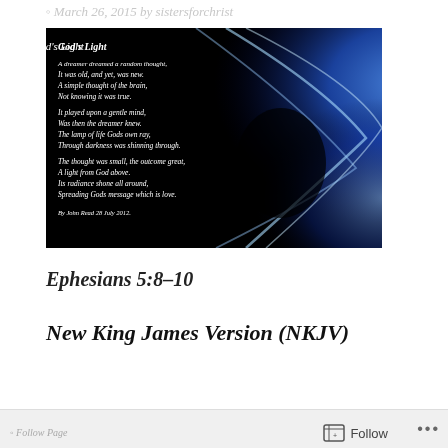March 26, 2015 by sistersforchrist
[Figure (illustration): Image of a poem titled 'God's Light' overlaid on a black and blue abstract light background. The poem reads: 'A dreamer dreamed a random thought, It was old, and yet, was new. A simple thought of the brain, Not knowing it was true. It played upon a gentle mind, Was then the dreamer knew. The lamp of life Gods own ray, Through darkness was shinning through. The thought was small, the outcome great, A light from God above. Its radiance shone all around, Spreading Gods message which is love.' By John Read 28 July 2012.]
Ephesians 5:8–10
New King James Version (NKJV)
Follow  •••